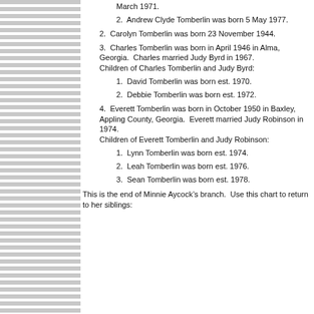March 1971.
2.  Andrew Clyde Tomberlin was born 5 May 1977.
2.  Carolyn Tomberlin was born 23 November 1944.
3.  Charles Tomberlin was born in April 1946 in Alma, Georgia.  Charles married Judy Byrd in 1967.
Children of Charles Tomberlin and Judy Byrd:
1.  David Tomberlin was born est. 1970.
2.  Debbie Tomberlin was born est. 1972.
4.  Everett Tomberlin was born in October 1950 in Baxley, Appling County, Georgia.  Everett married Judy Robinson in 1974.
Children of Everett Tomberlin and Judy Robinson:
1.  Lynn Tomberlin was born est. 1974.
2.  Leah Tomberlin was born est. 1976.
3.  Sean Tomberlin was born est. 1978.
This is the end of Minnie Aycock’s branch.  Use this chart to return to her siblings: